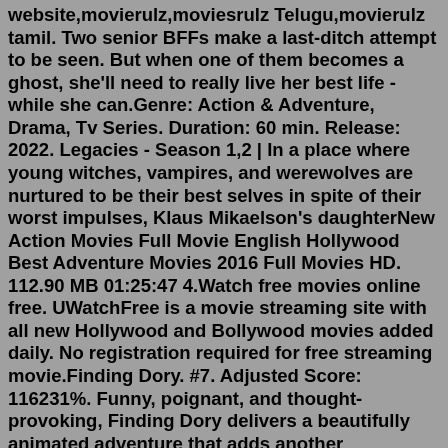website,movierulz,moviesrulz Telugu,movierulz tamil. Two senior BFFs make a last-ditch attempt to be seen. But when one of them becomes a ghost, she'll need to really live her best life - while she can.Genre: Action & Adventure, Drama, Tv Series. Duration: 60 min. Release: 2022. Legacies - Season 1,2 | In a place where young witches, vampires, and werewolves are nurtured to be their best selves in spite of their worst impulses, Klaus Mikaelson's daughterNew Action Movies Full Movie English Hollywood Best Adventure Movies 2016 Full Movies HD. 112.90 MB 01:25:47 4.Watch free movies online free. UWatchFree is a movie streaming site with all new Hollywood and Bollywood movies added daily. No registration required for free streaming movie.Finding Dory. #7. Adjusted Score: 116231%. Funny, poignant, and thought-provoking, Finding Dory delivers a beautifully animated adventure that adds another entertaining chapter to its predecessor's classic story. Starring: Ellen DeGeneres, Albert Brooks, Ed O'Neill, Kaitlin Olson. Directed By: Andrew Stanton.